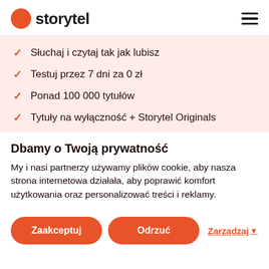storytel
Słuchaj i czytaj tak jak lubisz
Testuj przez 7 dni za 0 zł
Ponad 100 000 tytułów
Tytuły na wyłączność + Storytel Originals
Dbamy o Twoją prywatność
My i nasi partnerzy używamy plików cookie, aby nasza strona internetowa działała, aby poprawić komfort użytkowania oraz personalizować treści i reklamy.
Zaakceptuj | Odrzuć | Zarządzaj